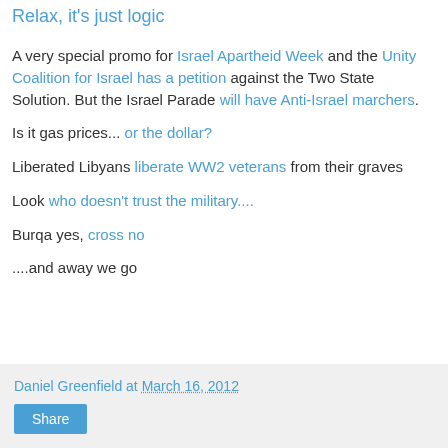Relax, it's just logic
A very special promo for Israel Apartheid Week and the Unity Coalition for Israel has a petition against the Two State Solution. But the Israel Parade will have Anti-Israel marchers.
Is it gas prices... or the dollar?
Liberated Libyans liberate WW2 veterans from their graves
Look who doesn't trust the military....
Burqa yes, cross no
....and away we go
Daniel Greenfield at March 16, 2012
Share